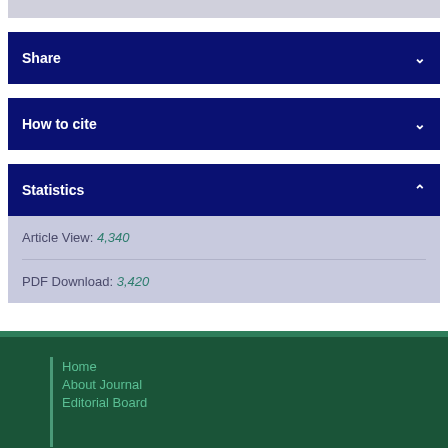Share
How to cite
Statistics
Article View: 4,340
PDF Download: 3,420
Home
About Journal
Editorial Board